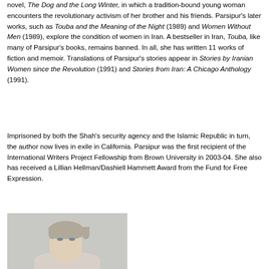novel, The Dog and the Long Winter, in which a tradition-bound young woman encounters the revolutionary activism of her brother and his friends. Parsipur's later works, such as Touba and the Meaning of the Night (1989) and Women Without Men (1989), explore the condition of women in Iran. A bestseller in Iran, Touba, like many of Parsipur's books, remains banned. In all, she has written 11 works of fiction and memoir. Translations of Parsipur's stories appear in Stories by Iranian Women since the Revolution (1991) and Stories from Iran: A Chicago Anthology (1991).
Imprisoned by both the Shah's security agency and the Islamic Republic in turn, the author now lives in exile in California. Parsipur was the first recipient of the International Writers Project Fellowship from Brown University in 2003-04. She also has received a Lillian Hellman/Dashiell Hammett Award from the Fund for Free Expression.
[Figure (photo): Portrait photo of a woman with short gray hair against a light gray background]